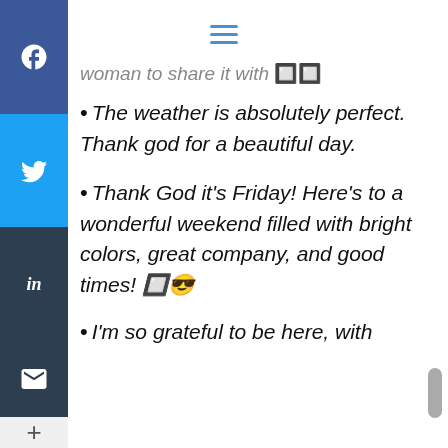≡ (hamburger/menu icon)
woman to share it with 🔲🔲
The weather is absolutely perfect. Thank god for a beautiful day.
Thank God it's Friday! Here's to a wonderful weekend filled with bright colors, great company, and good times! 🔲😎
I'm so grateful to be here, with